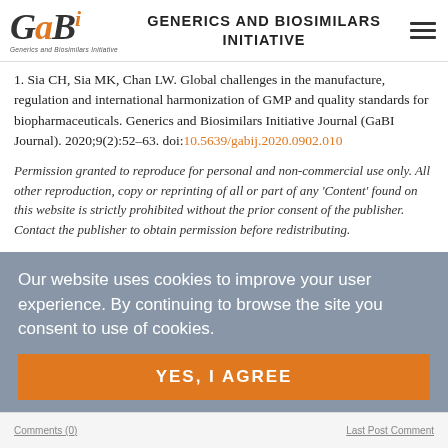GENERICS AND BIOSIMILARS INITIATIVE
1. Sia CH, Sia MK, Chan LW. Global challenges in the manufacture, regulation and international harmonization of GMP and quality standards for biopharmaceuticals. Generics and Biosimilars Initiative Journal (GaBI Journal). 2020;9(2):52–63. doi:10.5639/gabij.2020.0902.010
Permission granted to reproduce for personal and non-commercial use only. All other reproduction, copy or reprinting of all or part of any 'Content' found on this website is strictly prohibited without the prior consent of the publisher. Contact the publisher to obtain permission before redistributing.
Our website uses cookies to improve your user experience. By continuing to browse the site you consent to use of cookies.
© 2021 Pro Pharma Communications International. All Rights Reserved.